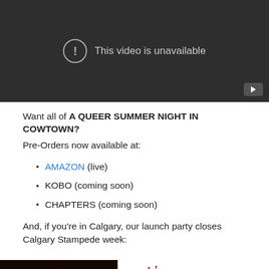[Figure (screenshot): Embedded video player showing 'This video is unavailable' message with a YouTube play button in the lower right corner, dark background.]
Want all of A QUEER SUMMER NIGHT IN COWTOWN?
Pre-Orders now available at:
AMAZON (live)
KOBO (coming soon)
CHAPTERS (coming soon)
And, if you’re in Calgary, our launch party closes Calgary Stampede week:
[Figure (photo): Bottom partial image showing a dark scene with orange/red light points on the left, and a decorative firework/sparkle illustration on the right.]